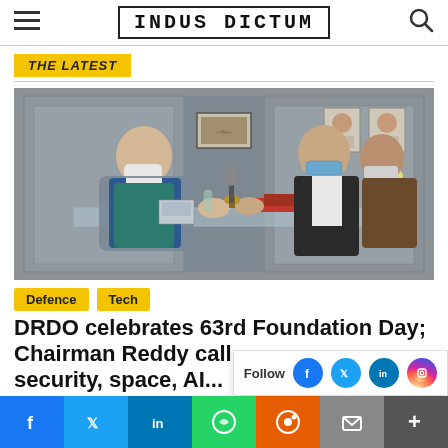INDUS DICTUM
THE LATEST
[Figure (photo): Two men in masks shaking hands across a desk in an official office setting; framed photographs and a lamp visible in background]
Defence
Tech
DRDO celebrates 63rd Foundation Day; Chairman Reddy call security, AI...